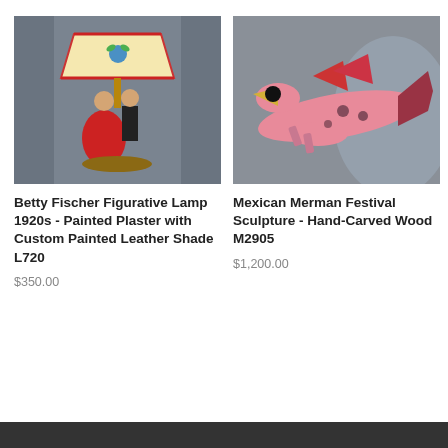[Figure (photo): Photo of a Betty Fischer figurative lamp from the 1920s with dancing couple figurine and a painted leather shade with floral design, against a gray background]
Betty Fischer Figurative Lamp 1920s - Painted Plaster with Custom Painted Leather Shade L720
$350.00
[Figure (photo): Photo of a Mexican Merman Festival sculpture, hand-carved wood painted in pink with fish tail and bird-like features, lying on a gray surface]
Mexican Merman Festival Sculpture - Hand-Carved Wood M2905
$1,200.00